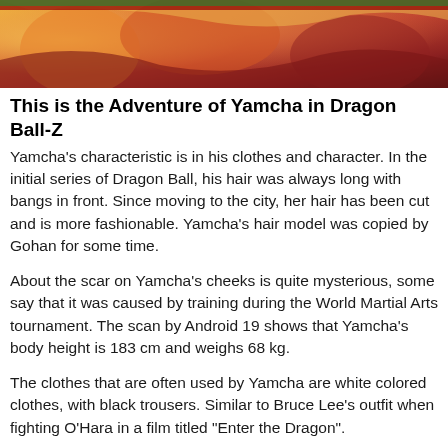[Figure (illustration): Anime illustration from Dragon Ball Z showing colorful characters, primarily orange, red, and brown tones with animated style artwork.]
This is the Adventure of Yamcha in Dragon Ball-Z
Yamcha's characteristic is in his clothes and character. In the initial series of Dragon Ball, his hair was always long with bangs in front. Since moving to the city, her hair has been cut and is more fashionable. Yamcha's hair model was copied by Gohan for some time.
About the scar on Yamcha's cheeks is quite mysterious, some say that it was caused by training during the World Martial Arts tournament. The scan by Android 19 shows that Yamcha's body height is 183 cm and weighs 68 kg.
The clothes that are often used by Yamcha are white colored clothes, with black trousers. Similar to Bruce Lee's outfit when fighting O'Hara in a film titled "Enter the Dragon".
In the Saga Red Ribbon and the Dragon Ball Z movie, his clothes are similar to Tsukutsun Tsun's clothes. Whereas in Majin Buu saga, a yellow suit and white shirt are used by